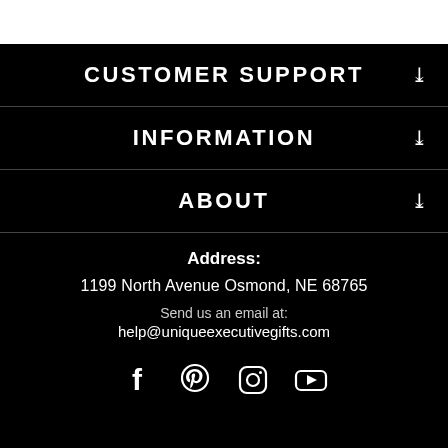CUSTOMER SUPPORT
INFORMATION
ABOUT
Address:
1199 North Avenue Osmond, NE 68765
Send us an email at:
help@uniqueexecutivegifts.com
[Figure (illustration): Social media icons: Facebook, Pinterest, Instagram, YouTube]